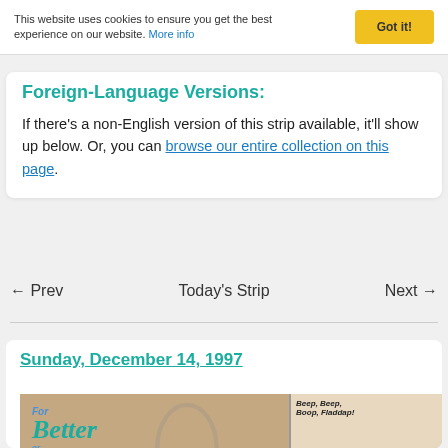This website uses cookies to ensure you get the best experience on our website. More info
Foreign-Language Versions:
If there's a non-English version of this strip available, it'll show up below. Or, you can browse our entire collection on this page.
← Prev   Today's Strip   Next →
Sunday, December 14, 1997
[Figure (illustration): Comic strip panel showing 'For Better or For Worse' title logo on left with characters near a storefront, and a right panel with crowd scene and 'Beep, Beep, Boop, Fladdap!' text]